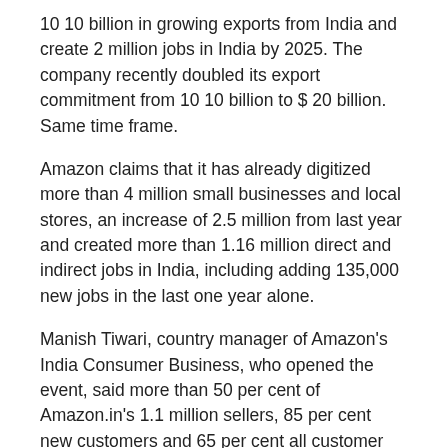10 10 billion in growing exports from India and create 2 million jobs in India by 2025. The company recently doubled its export commitment from 10 10 billion to $ 20 billion. Same time frame.
Amazon claims that it has already digitized more than 4 million small businesses and local stores, an increase of 2.5 million from last year and created more than 1.16 million direct and indirect jobs in India, including adding 135,000 new jobs in the last one year alone.
Manish Tiwari, country manager of Amazon's India Consumer Business, who opened the event, said more than 50 per cent of Amazon.in's 1.1 million sellers, 85 per cent new customers and 65 per cent all customer orders are coming. Geographical level 2 and below. More than 8 million local stores and small businesses use Amazon